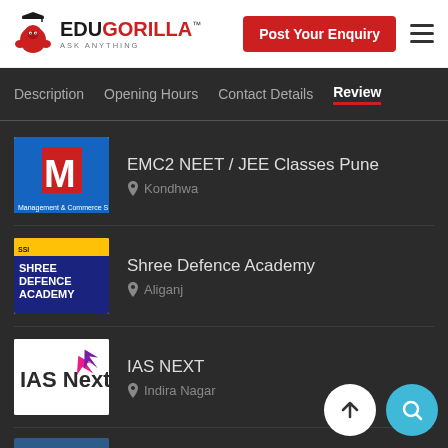[Figure (logo): EduGorilla logo with gorilla mascot and red/black text]
Post Your Enquiry
Description | Opening Hours | Contact Details | Reviews
EMC2 NEET / JEE Classes Pune — Kondhwa
Shree Defence Academy — Aliganj
IAS NEXT — Indira Nagar